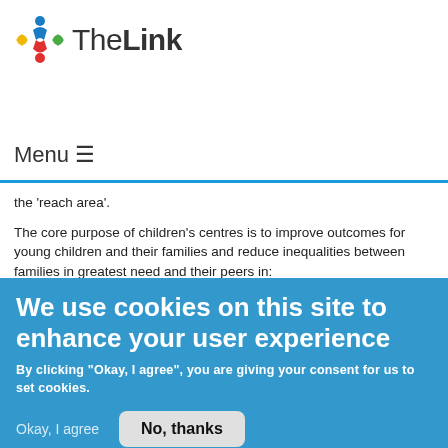[Figure (logo): TheLink logo with colorful diamond/people icon and text 'TheLink']
Menu ≡
the 'reach area'.
The core purpose of children's centres is to improve outcomes for young children and their families and reduce inequalities between families in greatest need and their peers in:
We use cookies on this site to enhance your user experience
By clicking "Okay, I agree", you are giving your consent for us to set cookies.
Okay, I agree
No, thanks